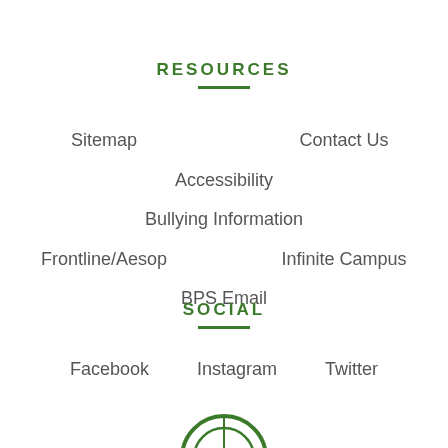RESOURCES
Sitemap
Contact Us
Accessibility
Bullying Information
Frontline/Aesop
Infinite Campus
BPS Email
SOCIAL
Facebook
Instagram
Twitter
[Figure (logo): Circular logo partially visible at bottom of page]